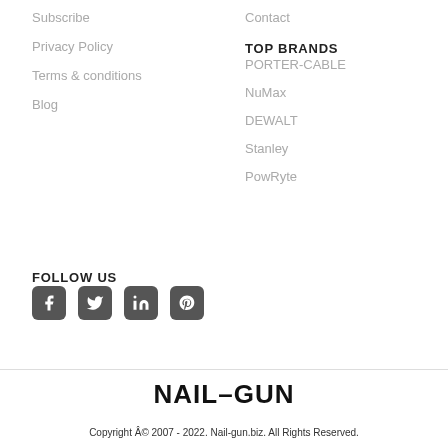Subscribe
Privacy Policy
Terms & conditions
Blog
Contact
TOP BRANDS
PORTER-CABLE
NuMax
DEWALT
Stanley
PowRyte
FOLLOW US
[Figure (other): Social media icons: Facebook, Twitter, LinkedIn, Pinterest]
NAIL-GUN
Copyright © 2007 - 2022. Nail-gun.biz. All Rights Reserved.